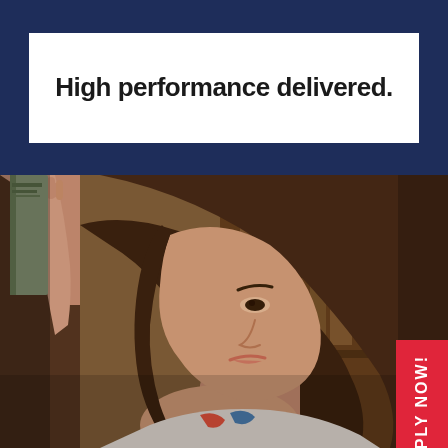High performance delivered.
[Figure (photo): Young woman in a library reaching up to a bookshelf, looking upward, shown in profile view. Bookshelves with books visible in the blurred background.]
APPLY NOW!